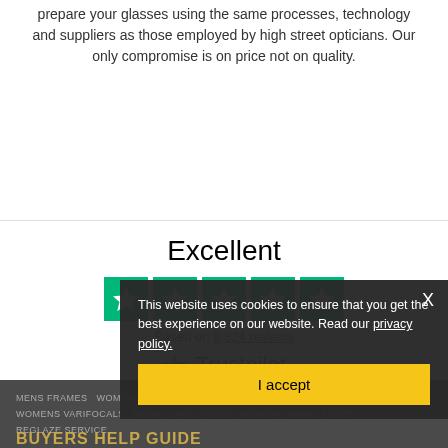prepare your glasses using the same processes, technology and suppliers as those employed by high street opticians. Our only compromise is on price not on quality.
Excellent
[Figure (other): Five green Trustpilot star rating boxes]
Based on 9,824 reviews
[Figure (logo): Trustpilot logo with green star]
This website uses cookies to ensure that you get the best experience on our website. Read our privacy policy.
I accept
MENS FRAMES   WOMENS FRAMES   MENS VARIFOCALS   WOMENS VARIFOCALS   MENS SUNGLASSES   WOMENS SUNGLASSES   REGLAZE SERVICE
BUYERS HELP GUIDE